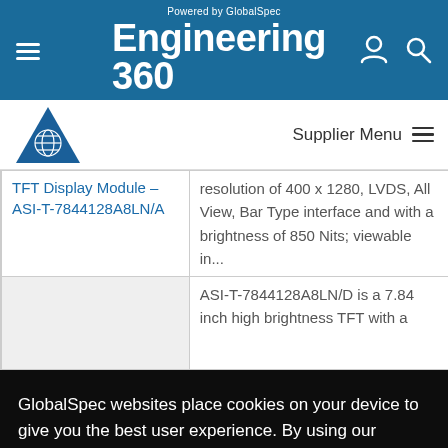Powered by GlobalSpec Engineering 360
[Figure (logo): All Stone Industries company logo - blue triangle with globe graphic]
Supplier Menu
TFT Display Module - ASI-T-7844128A8LN/A
resolution of 400 x 1280, LVDS, All View, Bar Type interface and with a brightness of 850 Nits; viewable in...
ASI-T-7844128A8LN/D is a 7.84 inch high brightness TFT with a
GlobalSpec websites place cookies on your device to give you the best user experience. By using our websites, you agree to the placement of these cookies. To learn more, read our Privacy Policy
Accept & Close